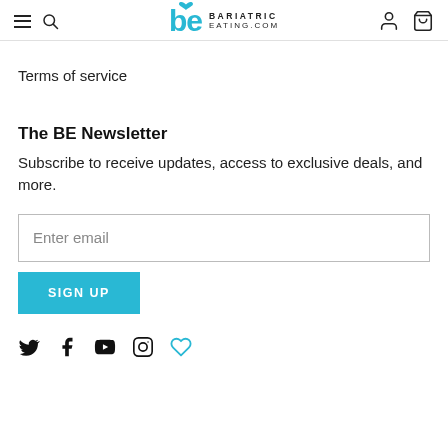BariatricEating.com
Terms of service
The BE Newsletter
Subscribe to receive updates, access to exclusive deals, and more.
Enter email
SIGN UP
[Figure (other): Social media icons: Twitter, Facebook, YouTube, Instagram, and a heart icon]